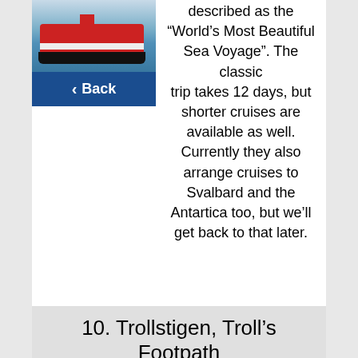[Figure (photo): Photo of a red and white cruise ship on blue water, partially cut off at top]
Back
described as the “World’s Most Beautiful Sea Voyage”. The classic trip takes 12 days, but shorter cruises are available as well. Currently they also arrange cruises to Svalbard and the Antartica too, but we’ll get back to that later.
10. Trollstigen, Troll’s Footpath (Western Norway)